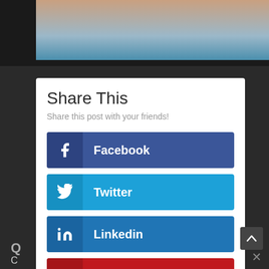[Figure (screenshot): Background showing a partial webpage with dark overlay and a top image area with skin/blue tones]
Share This
Share this post with your friends!
Facebook
Twitter
Linkedin
Pinterest
Gmail